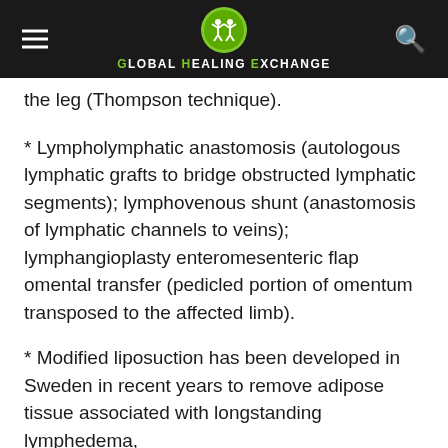Global Healing Exchange
the leg (Thompson technique).
* Lympholymphatic anastomosis (autologous lymphatic grafts to bridge obstructed lymphatic segments); lymphovenous shunt (anastomosis of lymphatic channels to veins); lymphangioplasty enteromesenteric flap omental transfer (pedicled portion of omentum transposed to the affected limb).
* Modified liposuction has been developed in Sweden in recent years to remove adipose tissue associated with longstanding lymphedema,